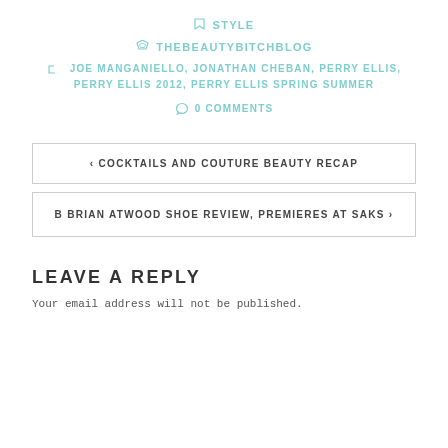STYLE
THEBEAUTYBITCHBLOG
JOE MANGANIELLO, JONATHAN CHEBAN, PERRY ELLIS, PERRY ELLIS 2012, PERRY ELLIS SPRING SUMMER
0 COMMENTS
‹ COCKTAILS AND COUTURE BEAUTY RECAP
B BRIAN ATWOOD SHOE REVIEW, PREMIERES AT SAKS ›
LEAVE A REPLY
Your email address will not be published.